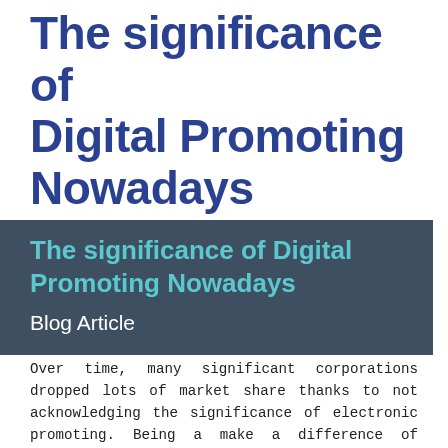The significance of Digital Promoting Nowadays
The significance of Digital Promoting Nowadays
Blog Article
Over time, many significant corporations dropped lots of market share thanks to not acknowledging the significance of electronic promoting. Being a make a difference of point, some firms faced failure for a similar explanation. Some of them took a u-convert to receive back again in company. Now, if This could certainly come about to large